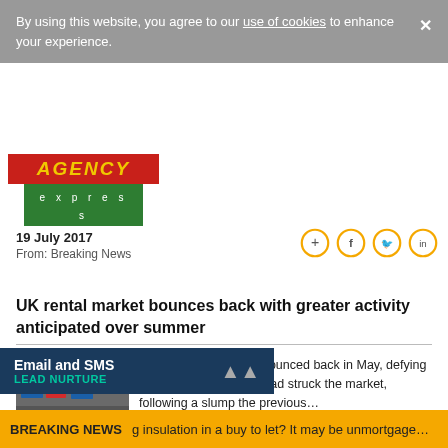By using this website, you agree to our use of cookies to enhance your experience.
[Figure (logo): Agency Express logo with red top and green bottom]
19 July 2017
From: Breaking News
UK rental market bounces back with greater activity anticipated over summer
[Figure (photo): Photo of rental property signs on a street]
Rental market activity bounced back in May, defying fears that a slowdown had struck the market, following a slump the previous...
20 June 2017
From: Breaking News
Email and SMS LEAD NURTURE
BREAKING NEWS  g insulation in a buy to let? It may be unmortgage...